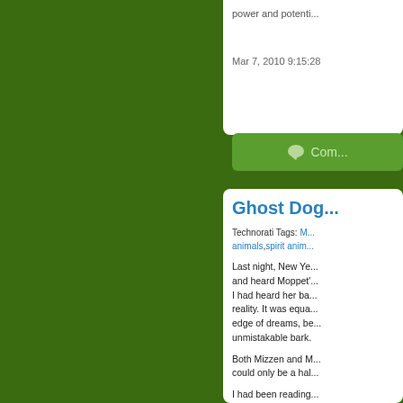power and potenti...
Mar 7, 2010 9:15:28
Com...
Ghost Dog...
Technorati Tags: M... animals,spirit anim...
Last night, New Ye... and heard Moppet'... I had heard her ba... reality. It was equa... edge of dreams, be... unmistakable bark.
Both Mizzen and M... could only be a hal...
I had been reading... of Meaningful Cha... unconscious. I thou...